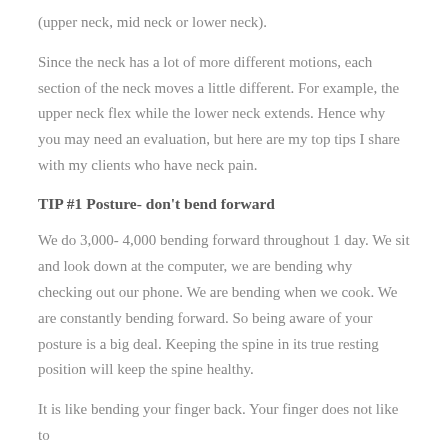(upper neck, mid neck or lower neck).
Since the neck has a lot of more different motions, each section of the neck moves a little different. For example, the upper neck flex while the lower neck extends. Hence why you may need an evaluation, but here are my top tips I share with my clients who have neck pain.
TIP #1 Posture- don't bend forward
We do 3,000- 4,000 bending forward throughout 1 day. We sit and look down at the computer, we are bending why checking out our phone. We are bending when we cook. We are constantly bending forward. So being aware of your posture is a big deal. Keeping the spine in its true resting position will keep the spine healthy.
It is like bending your finger back. Your finger does not like to